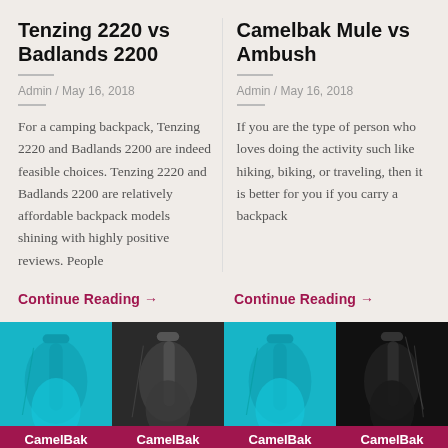Tenzing 2220 vs Badlands 2200
Admin / May 16, 2018
For a camping backpack, Tenzing 2220 and Badlands 2200 are indeed feasible choices. Tenzing 2220 and Badlands 2200 are relatively affordable backpack models shining with highly positive reviews. People
Camelbak Mule vs Ambush
Admin / May 16, 2018
If you are the type of person who loves doing the activity such like hiking, biking, or traveling, then it is better for you if you carry a backpack
Continue Reading →
Continue Reading →
[Figure (photo): Two backpacks side by side: teal CamelBak and dark grey backpack with CamelBak label at bottom]
[Figure (photo): Two backpacks side by side: teal CamelBak and black backpack with CamelBak label at bottom]